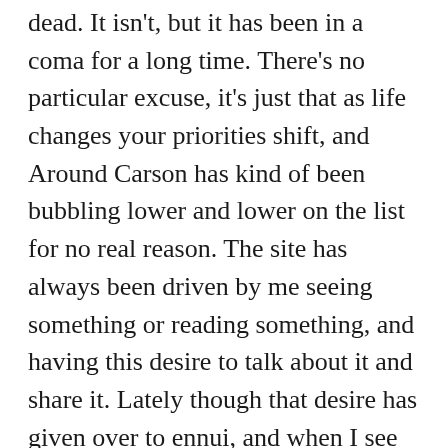dead. It isn't, but it has been in a coma for a long time. There's no particular excuse, it's just that as life changes your priorities shift, and Around Carson has kind of been bubbling lower and lower on the list for no real reason. The site has always been driven by me seeing something or reading something, and having this desire to talk about it and share it. Lately though that desire has given over to ennui, and when I see something or read something my response is a hearty, “Eh.” In a word, folks, I’m in a slump.
Probably the best way to break a slump, though, is just to push through it. I always said that I